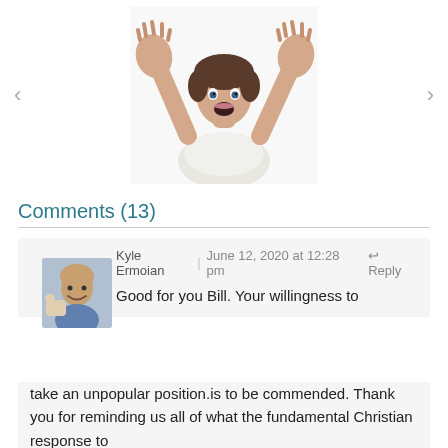[Figure (photo): Woman with both hands raised in a stop gesture, mouth open in surprise, white background. Navigation arrows on left and right sides.]
Comments (13)
Kyle Ermoian | June 12, 2020 at 12:28 pm  Reply
Good for you Bill. Your willingness to take an unpopular position.is to be commended. Thank you for reminding us all of what the fundamental Christian response to